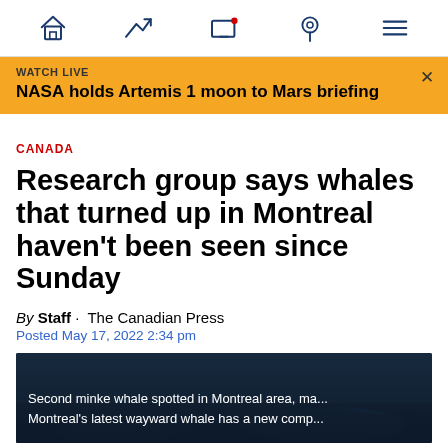Navigation bar with home, trending, live TV, location, and menu icons
WATCH LIVE
NASA holds Artemis 1 moon to Mars briefing
CANADA
Research group says whales that turned up in Montreal haven't been seen since Sunday
By Staff · The Canadian Press
Posted May 17, 2022 2:34 pm
[Figure (screenshot): Video thumbnail showing two text lines: 'Second minke whale spotted in Montreal area, ma...' and 'Montreal's latest wayward whale has a new comp...' over a dark ocean background]